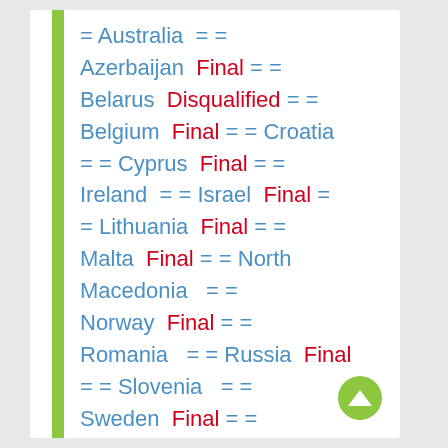= Australia = = Azerbaijan Final = = Belarus Disqualified = = Belgium Final = = Croatia = = Cyprus Final = = Ireland = = Israel Final = = Lithuania Final = = Malta Final = = North Macedonia = = Norway Final = = Romania = = Russia Final = = Slovenia = = Sweden Final = = Ukraine Final =